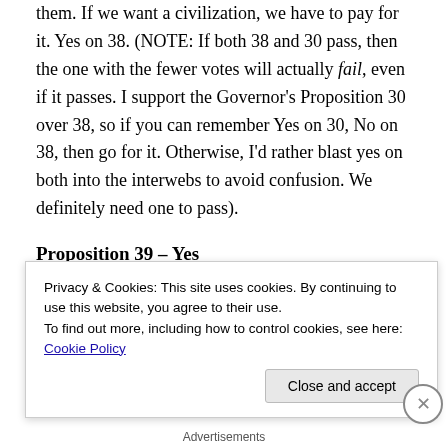them. If we want a civilization, we have to pay for them. If we want a civilization, we have to pay for it. Yes on 38. (NOTE: If both 38 and 30 pass, then the one with the fewer votes will actually fail, even if it passes. I support the Governor's Proposition 30 over 38, so if you can remember Yes on 30, No on 38, then go for it. Otherwise, I'd rather blast yes on both into the interwebs to avoid confusion. We definitely need one to pass).
Proposition 39 – Yes
Proposition 39 closes a loophole that allows out-of-state businesses from paying in-state taxes on their in-state profits. It would raise about $1 billion per year to close our
Privacy & Cookies: This site uses cookies. By continuing to use this website, you agree to their use.
To find out more, including how to control cookies, see here: Cookie Policy
Close and accept
Advertisements